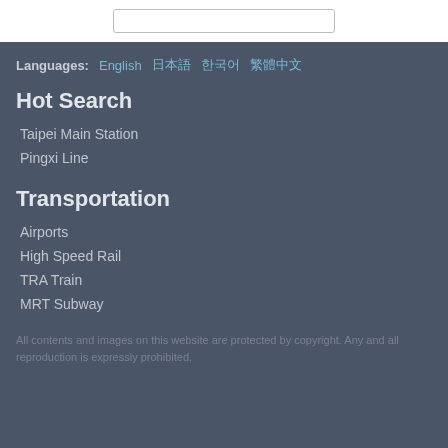Languages: English 日本語 한국어 繁體中文
Hot Search
Taipei Main Station
Pingxi Line
Transportation
Airports
High Speed Rail
TRA Train
MRT Subway
All contents and images on this website are protected by copyright. Any and all reproduction is expressly prohibited.